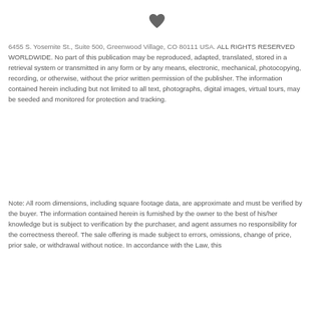[Figure (illustration): Heart icon (filled, dark gray) centered at top of page]
6435 S. Yosemite St., Suite 500, Greenwood Village, CO 80111 USA. ALL RIGHTS RESERVED WORLDWIDE. No part of this publication may be reproduced, adapted, translated, stored in a retrieval system or transmitted in any form or by any means, electronic, mechanical, photocopying, recording, or otherwise, without the prior written permission of the publisher. The information contained herein including but not limited to all text, photographs, digital images, virtual tours, may be seeded and monitored for protection and tracking.
Note: All room dimensions, including square footage data, are approximate and must be verified by the buyer. The information contained herein is furnished by the owner to the best of his/her knowledge but is subject to verification by the purchaser, and agent assumes no responsibility for the correctness thereof. The sale offering is made subject to errors, omissions, change of price, prior sale, or withdrawal without notice. In accordance with the Law, this